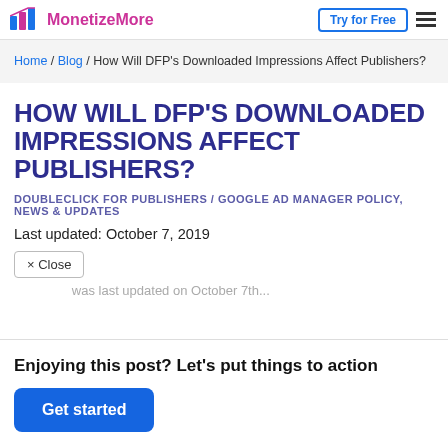MonetizeMore | Try for Free
Home / Blog / How Will DFP’s Downloaded Impressions Affect Publishers?
HOW WILL DFP’S DOWNLOADED IMPRESSIONS AFFECT PUBLISHERS?
DOUBLECLICK FOR PUBLISHERS / GOOGLE AD MANAGER POLICY, NEWS & UPDATES
Last updated: October 7, 2019
× Close
Enjoying this post? Let’s put things to action
Get started